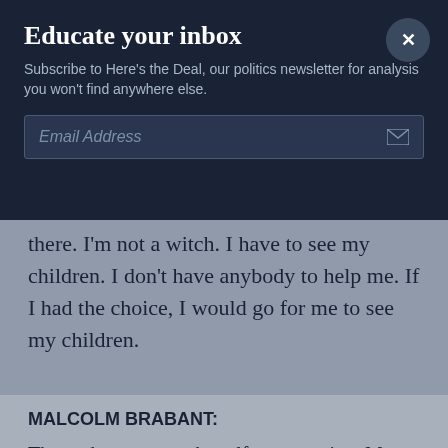Educate your inbox
Subscribe to Here's the Deal, our politics newsletter for analysis you won't find anywhere else.
Email Address
there. I'm not a witch. I have to see my children. I don't have anybody to help me. If I had the choice, I would go for me to see my children.
MALCOLM BRABANT:
The trade appears to be self-perpetuating. Many of the madams are themselves